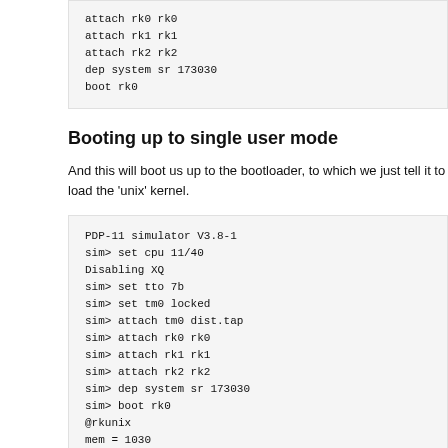[Figure (screenshot): Code block showing terminal commands: attach rk0 rk0, attach rk1 rk1, attach rk2 rk2, dep system sr 173030, boot rk0]
Booting up to single user mode
And this will boot us up to the bootloader, to which we just tell it to load the 'unix' kernel.
[Figure (screenshot): Terminal session showing PDP-11 simulator V3.8-1, sim> set cpu 11/40, Disabling XQ, sim> set tto 7b, sim> set tm0 locked, sim> attach tm0 dist.tap, sim> attach rk0 rk0, sim> attach rk1 rk1, sim> attach rk2 rk2, sim> dep system sr 173030, sim> boot rk0, @rkunix, mem = 1030, RESTRICTED RIGHTS, Use, duplication or disclosure is subject to restrictions stated in Contract]